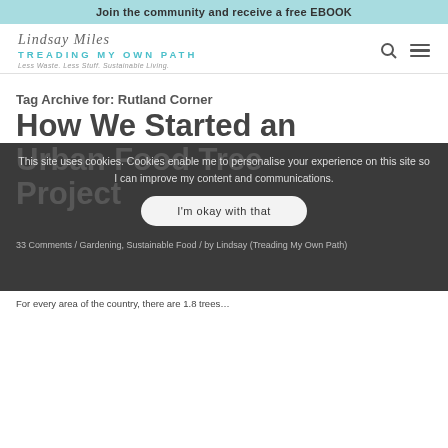Join the community and receive a free EBOOK
[Figure (logo): Lindsay Miles Treading My Own Path logo with cursive name, teal uppercase text, and tagline 'Less Waste. Less Stuff. Sustainable Living.']
Tag Archive for: Rutland Corner
How We Started an Urban Food Tree Project
This site uses cookies. Cookies enable me to personalise your experience on this site so I can improve my content and communications.
I'm okay with that
33 Comments / Gardening, Sustainable Food / by Lindsay (Treading My Own Path)
For every area of the country, there are 1.8 trees...